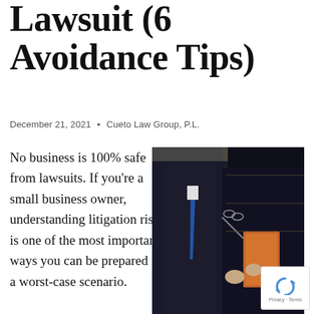Lawsuit (6 Avoidance Tips)
December 21, 2021 • Cueto Law Group, P.L.
No business is 100% safe from lawsuits. If you're a small business owner, understanding litigation risks is one of the most important ways you can be prepared for a worst-case scenario.
[Figure (photo): Two lawyers in dark suits standing close together, one holding a book and glasses, in what appears to be a library or legal setting.]